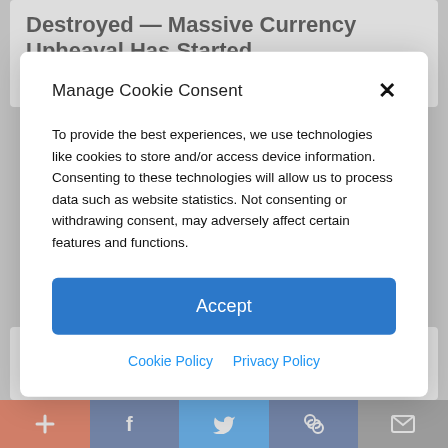Destroyed — Massive Currency Upheaval Has Started
🔥 59,978
Manage Cookie Consent
To provide the best experiences, we use technologies like cookies to store and/or access device information. Consenting to these technologies will allow us to process data such as website statistics. Not consenting or withdrawing consent, may adversely affect certain features and functions.
Accept
Cookie Policy  Privacy Policy
Suffering From Chronic Sciatic Nerve Pain? Here's A Secret You Need To